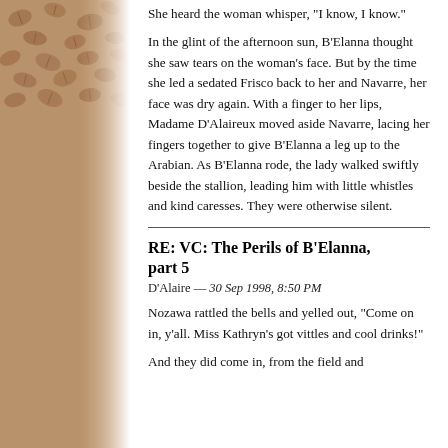She heard the woman whisper, "I know, I know."
In the glint of the afternoon sun, B'Elanna thought she saw tears on the woman's face. But by the time she led a sedated Frisco back to her and Navarre, her face was dry again. With a finger to her lips, Madame D'Alaireux moved aside Navarre, lacing her fingers together to give B'Elanna a leg up to the Arabian. As B'Elanna rode, the lady walked swiftly beside the stallion, leading him with little whistles and kind caresses. They were otherwise silent.
RE: VC: The Perils of B'Elanna, part 5
D'Alaire — 30 Sep 1998, 8:50 PM
Nozawa rattled the bells and yelled out, "Come on in, y'all. Miss Kathryn's got vittles and cool drinks!"
And they did come in, from the field and